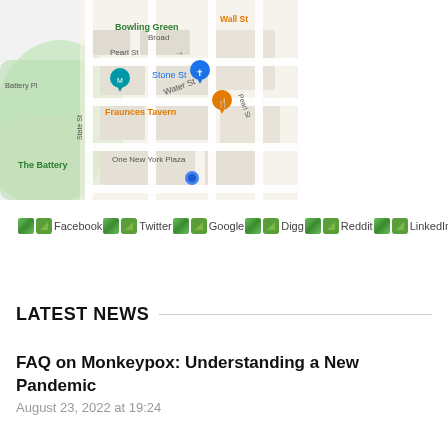[Figure (map): Google Maps view of lower Manhattan showing Bowling Green, Stone St, Fraunces Tavern, Pearl St, Water St, One New York Plaza, The Battery, with map pins and street labels]
Facebook Twitter Google Digg Reddit LinkedIn
LATEST NEWS
FAQ on Monkeypox: Understanding a New Pandemic
August 23, 2022 at 19:24